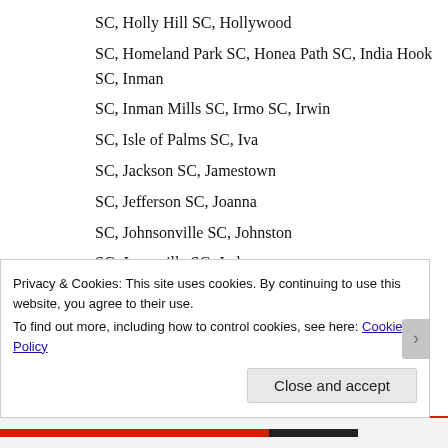SC, Holly Hill SC, Hollywood
SC, Homeland Park SC, Honea Path SC, India Hook SC, Inman
SC, Inman Mills SC, Irmo SC, Irwin
SC, Isle of Palms SC, Iva
SC, Jackson SC, Jamestown
SC, Jefferson SC, Joanna
SC, Johnsonville SC, Johnston
SC, Jonesville SC, Judson
SC, Kershaw SC, Kiawah Island
Privacy & Cookies: This site uses cookies. By continuing to use this website, you agree to their use.
To find out more, including how to control cookies, see here: Cookie Policy